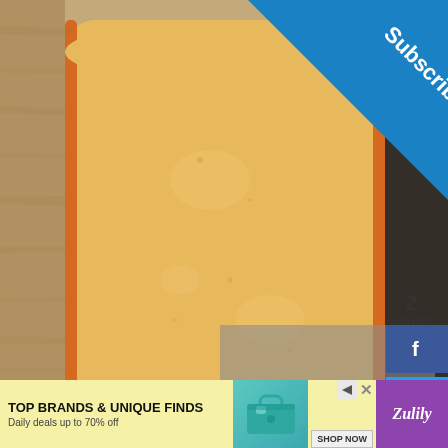[Figure (photo): A large block of gouda-style cheese with orange rind on a wooden cutting board, close-up view]
Subscribe
2
SHARES
[Figure (infographic): Social share sidebar with Facebook (f), Twitter (bird), and Pinterest (p) buttons; Pinterest shows count of 2]
No compatible source was found for this media.
TOP BRANDS & UNIQUE FINDS
Daily deals up to 70% off
SHOP NOW
Zulily